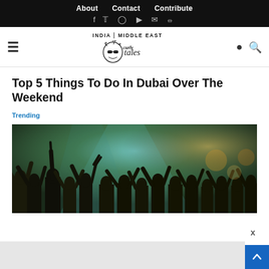About  Contact  Contribute
Curly Tales — INDIA | MIDDLE EAST
Top 5 Things To Do In Dubai Over The Weekend
Trending
[Figure (photo): Crowd of people at a concert or festival with hands raised, teal/green stage lighting in the background, silhouettes in foreground]